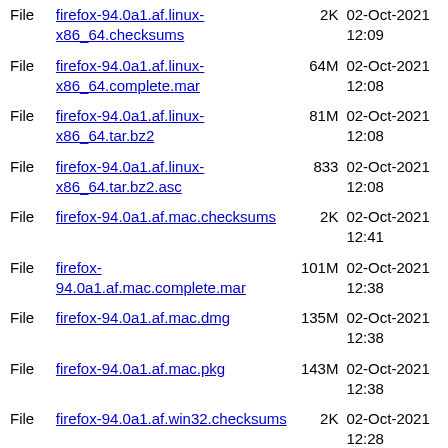File  firefox-94.0a1.af.linux-x86_64.checksums  2K  02-Oct-2021 12:09
File  firefox-94.0a1.af.linux-x86_64.complete.mar  64M  02-Oct-2021 12:08
File  firefox-94.0a1.af.linux-x86_64.tar.bz2  81M  02-Oct-2021 12:08
File  firefox-94.0a1.af.linux-x86_64.tar.bz2.asc  833  02-Oct-2021 12:08
File  firefox-94.0a1.af.mac.checksums  2K  02-Oct-2021 12:41
File  firefox-94.0a1.af.mac.complete.mar  101M  02-Oct-2021 12:38
File  firefox-94.0a1.af.mac.dmg  135M  02-Oct-2021 12:38
File  firefox-94.0a1.af.mac.pkg  143M  02-Oct-2021 12:38
File  firefox-94.0a1.af.win32.checksums  2K  02-Oct-2021 12:28
File  firefox-94.0a1.af.win32.complete.mar  56M  02-Oct-2021 12:27
File  firefox-94.0a1.af.win32.installer.exe  51M  02-Oct-2021 12:27
File  firefox-94.0a1.af.win32.  02-Oct-2021